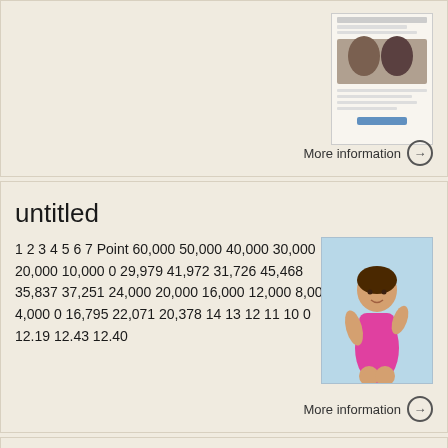[Figure (screenshot): Top card with a thumbnail showing a Japanese webpage with faces/people]
More information →
untitled
1 2 3 4 5 6 7 Point 60,000 50,000 40,000 30,000 20,000 10,000 0 29,979 41,972 31,726 45,468 35,837 37,251 24,000 20,000 16,000 12,000 8,000 4,000 0 16,795 22,071 20,378 14 13 12 11 10 0 12.19 12.43 12.40
[Figure (photo): Woman in pink swimsuit]
More information →
[Figure (illustration): Bottom card with avocado/food icon thumbnail and back-to-top button]